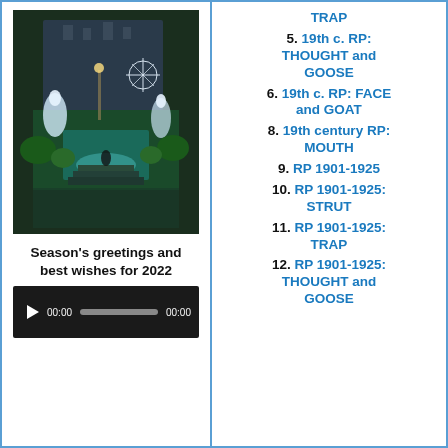[Figure (photo): Night-time photo of an illuminated fountain garden with angel sculptures and holiday decorations]
Season's greetings and best wishes for 2022
[Figure (screenshot): Video player with play button, 00:00 timestamp, progress bar, and 00:00 end time]
TRAP
5. 19th c. RP: THOUGHT and GOOSE
6. 19th c. RP: FACE and GOAT
8. 19th century RP: MOUTH
9. RP 1901-1925
10. RP 1901-1925: STRUT
11. RP 1901-1925: TRAP
12. RP 1901-1925: THOUGHT and GOOSE